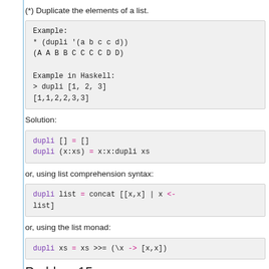(*) Duplicate the elements of a list.
Example:
* (dupli '(a b c c d))
(A A B B C C C C D D)

Example in Haskell:
> dupli [1, 2, 3]
[1,1,2,2,3,3]
Solution:
dupli [] = []
dupli (x:xs) = x:x:dupli xs
or, using list comprehension syntax:
dupli list = concat [[x,x] | x <- list]
or, using the list monad:
dupli xs = xs >>= (\x -> [x,x])
Problem 15
(**) Replicate the elements of a list a given number of times.